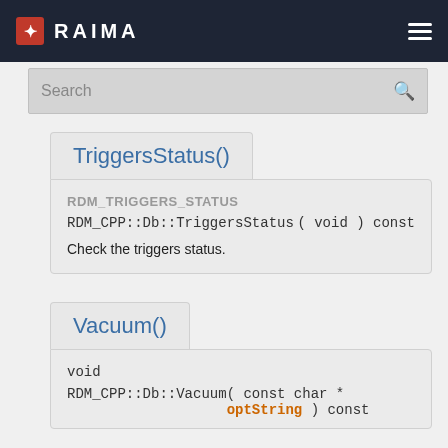RAIMA
Search
TriggersStatus()
RDM_TRIGGERS_STATUS
RDM_CPP::Db::TriggersStatus ( void ) const
Check the triggers status.
Vacuum()
void
RDM_CPP::Db::Vacuum ( const char * optString ) const